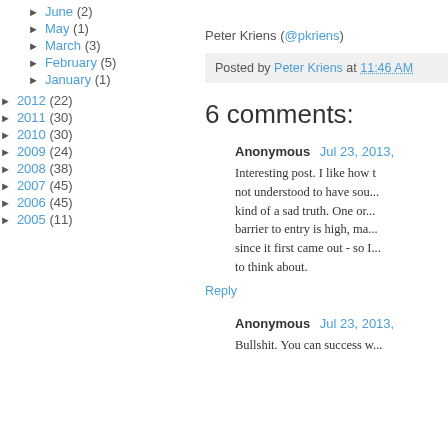► June (2)
► May (1)
► March (3)
► February (5)
► January (1)
► 2012 (22)
► 2011 (30)
► 2010 (30)
► 2009 (24)
► 2008 (38)
► 2007 (45)
► 2006 (45)
► 2005 (11)
Peter Kriens (@pkriens)
Posted by Peter Kriens at 11:46 AM
6 comments:
Anonymous  Jul 23, 2013,
Interesting post. I like how t... not understood to have sou... kind of a sad truth. One or... barrier to entry is high, ma... since it first came out - so I... to think about.
Reply
Anonymous  Jul 23, 2013,
Bullshit. You can success w...